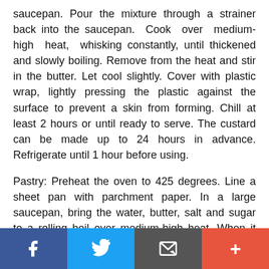saucepan. Pour the mixture through a strainer back into the saucepan. Cook over medium-high heat, whisking constantly, until thickened and slowly boiling. Remove from the heat and stir in the butter. Let cool slightly. Cover with plastic wrap, lightly pressing the plastic against the surface to prevent a skin from forming. Chill at least 2 hours or until ready to serve. The custard can be made up to 24 hours in advance. Refrigerate until 1 hour before using.
Pastry: Preheat the oven to 425 degrees. Line a sheet pan with parchment paper. In a large saucepan, bring the water, butter, salt and sugar to a rolling boil over medium-high heat. When it boils, immediately take the pan off the heat. Stirring with a wooden spoon, add all the flour at once and stir hard until all the flour is incorporated, 30 to 60 seconds. Return to the heat and cook, stirring, 30 seconds. Scrape the mixture into a mixer fitted with a paddle attachment (or use a hand mixer). Mix at medium speed. With the mixer
Social share bar: Facebook, Twitter, Email, Plus